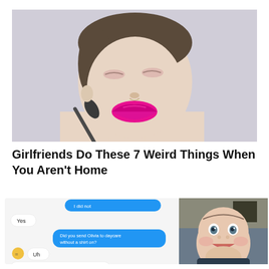[Figure (photo): Woman with eyes closed applying bright pink/magenta lipstick with a makeup brush, light grey background]
Girlfriends Do These 7 Weird Things When You Aren't Home
[Figure (screenshot): Mobile text message conversation: blue bubble at top (partially cut off, unreadable), white bubble 'Yes', blue bubble 'Did you send Olivia to daycare without a shirt on?', emoji face bubble, white bubble 'Uh', white bubble 'I sent her with that thing in']
[Figure (photo): Smiling baby with big eyes looking at camera, wearing dark clothing, indoor background]